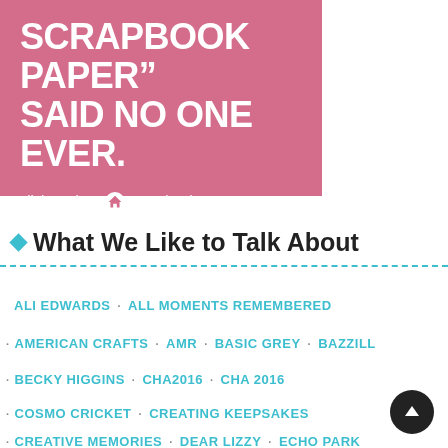[Figure (illustration): Pink advertisement banner for scrapbook.com with white bold text reading 'SCRAPBOOK PAPER" SAID NO ONE EVER.' and smaller text 'click to shop [house icon] scrapbook.com']
What We Like to Talk About
ALI EDWARDS · ALL MOMENTS REMEMBERED
· AMERICAN CRAFTS · AMR · BASIC GREY · BAZZILL
· BECKY HIGGINS · CHA2016 · CHA 2016
· COSMO CRICKET · CREATING KEEPSAKES
· CREATIVE MEMORIES · DEAR LIZZY · ECHO PARK